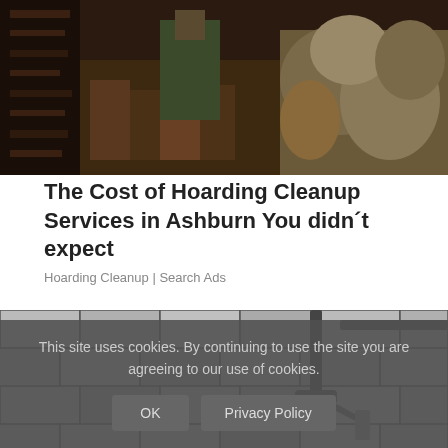[Figure (photo): Photo of a cluttered hoarding scene with bags and piled items in a narrow space]
The Cost of Hoarding Cleanup Services in Ashburn You didn´t expect
Hoarding Cleanup | Search Ads
[Figure (photo): Close-up photo of a rooftop with gray shingles and a metal tool or bracket visible]
This site uses cookies. By continuing to use the site you are agreeing to our use of cookies.
OK    Privacy Policy